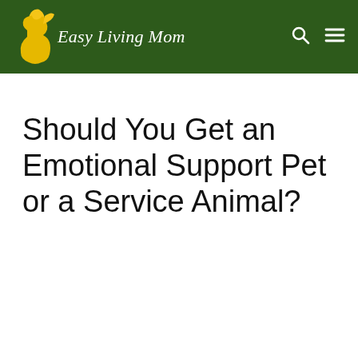Easy Living Mom
Should You Get an Emotional Support Pet or a Service Animal?